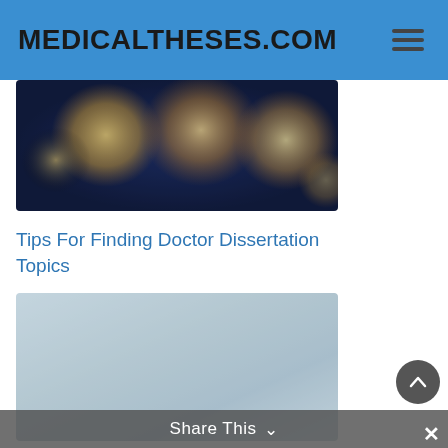MEDICALTHESES.COM
[Figure (photo): Blurred bokeh photo with circular lights in warm orange and gold tones against dark blue background]
Tips For Finding Doctor Dissertation Topics
[Figure (photo): Muted blue-grey gradient rectangular photo, soft foggy appearance]
Why Should You Include a Thesis Medical Definition in
Share This